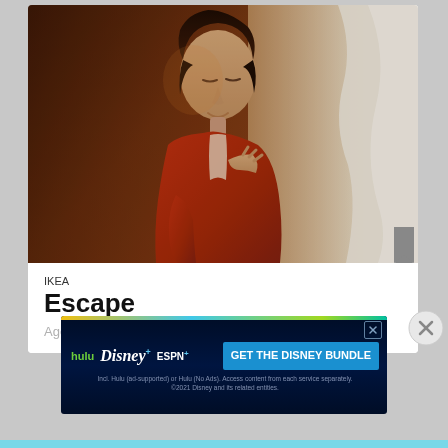[Figure (photo): A woman wearing a red cardigan, looking down with a slight smile, standing near a bright window with white curtains. Warm, moody indoor lighting.]
IKEA
Escape
Agency: Triad Advertising –
[Figure (infographic): Disney Bundle advertisement banner showing Hulu, Disney+, and ESPN+ logos with 'GET THE DISNEY BUNDLE' call-to-action and fine print about subscription details.]